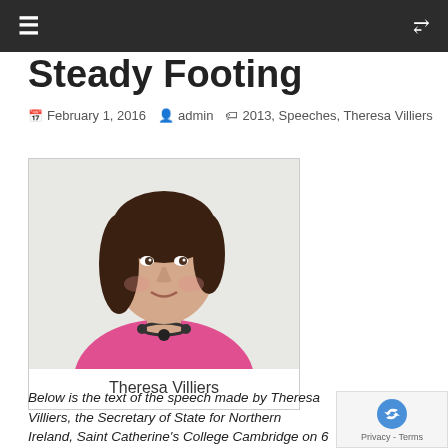≡  ⇌
Steady Footing
February 1, 2016   admin   2013, Speeches, Theresa Villiers
[Figure (photo): Portrait photo of Theresa Villiers wearing a pink jacket and beaded necklace, with caption 'Theresa Villiers']
Below is the text of the speech made by Theresa Villiers, the Secretary of State for Northern Ireland, Saint Catherine's College Cambridge on 6 September 20…